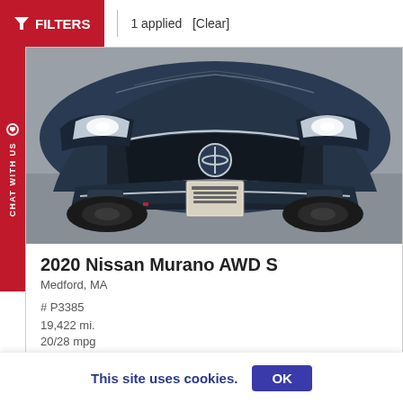FILTERS | 1 applied [Clear]
[Figure (photo): Front view of a 2020 Nissan Murano AWD S in dark blue/navy color, photographed from a slightly elevated front angle showing the grille, headlights, and front bumper. Dealer plate visible on the front.]
2020 Nissan Murano AWD S
Medford, MA
# P3385
19,422 mi.
20/28 mpg
This site uses cookies.